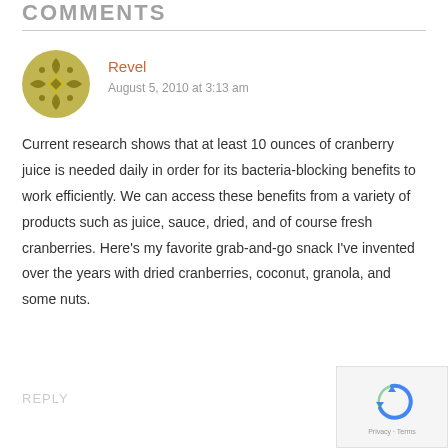COMMENTS
Revel
August 5, 2010 at 3:13 am
Current research shows that at least 10 ounces of cranberry juice is needed daily in order for its bacteria-blocking benefits to work efficiently. We can access these benefits from a variety of products such as juice, sauce, dried, and of course fresh cranberries. Here's my favorite grab-and-go snack I've invented over the years with dried cranberries, coconut, granola, and some nuts.
REPLY